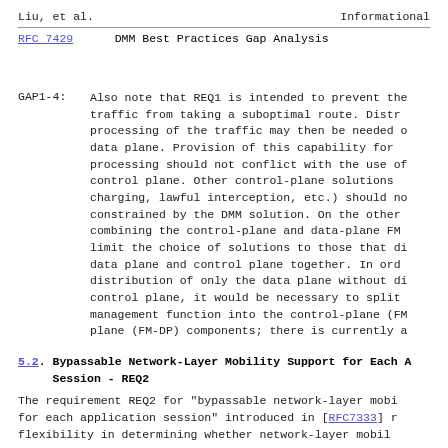Liu, et al.                    Informational
RFC 7429               DMM Best Practices Gap Analysis
GAP1-4:  Also note that REQ1 is intended to prevent the traffic from taking a suboptimal route.  Distributed processing of the traffic may then be needed on the data plane.  Provision of this capability for data-plane processing should not conflict with the use of the control plane.  Other control-plane solutions (e.g., charging, lawful interception, etc.) should not be constrained by the DMM solution.  On the other hand, combining the control-plane and data-plane FM may limit the choice of solutions to those that distribute data plane and control plane together.  In order for distribution of only the data plane without distributing the control plane, it would be necessary to split the flow management function into the control-plane (FM-CP) and data-plane (FM-DP) components; there is currently a
5.2.  Bypassable Network-Layer Mobility Support for Each Application Session - REQ2
The requirement REQ2 for "bypassable network-layer mobility support for each application session" introduced in [RFC7333] requires flexibility in determining whether network-layer mobility